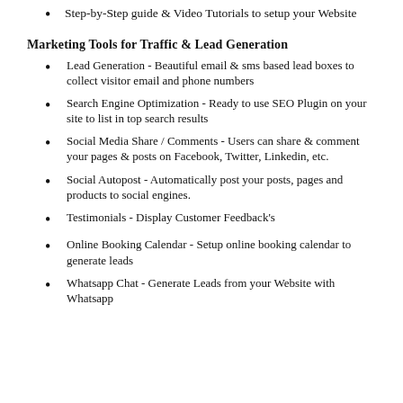Step-by-Step guide & Video Tutorials to setup your Website
Marketing Tools for Traffic & Lead Generation
Lead Generation - Beautiful email & sms based lead boxes to collect visitor email and phone numbers
Search Engine Optimization - Ready to use SEO Plugin on your site to list in top search results
Social Media Share / Comments - Users can share & comment your pages & posts on Facebook, Twitter, Linkedin, etc.
Social Autopost - Automatically post your posts, pages and products to social engines.
Testimonials - Display Customer Feedback's
Online Booking Calendar - Setup online booking calendar to generate leads
Whatsapp Chat - Generate Leads from your Website with Whatsapp